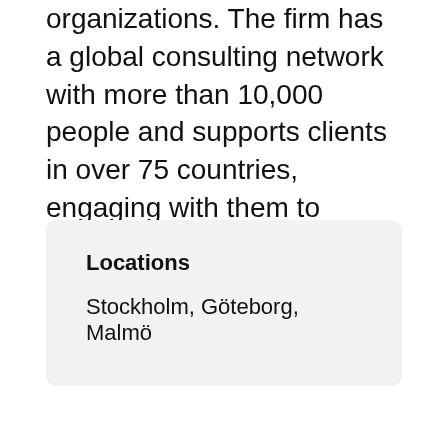organizations. The firm has a global consulting network with more than 10,000 people and supports clients in over 75 countries, engaging with them to achieve measurable and sustainable success.
Locations
Stockholm, Göteborg, Malmö